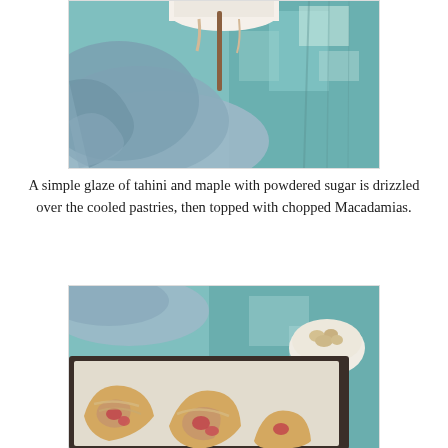[Figure (photo): Top-down view of a white bowl or cup with tahini-maple glaze, a blue linen cloth, and a rustic teal/turquoise painted wooden background]
A simple glaze of tahini and maple with powdered sugar is drizzled over the cooled pastries, then topped with chopped Macadamias.
[Figure (photo): Overhead view of strawberry pastries topped with tahini-maple glaze on a dark baking sheet lined with parchment paper, with a small white bowl of chopped macadamia nuts and a blue cloth on a teal painted wooden surface]